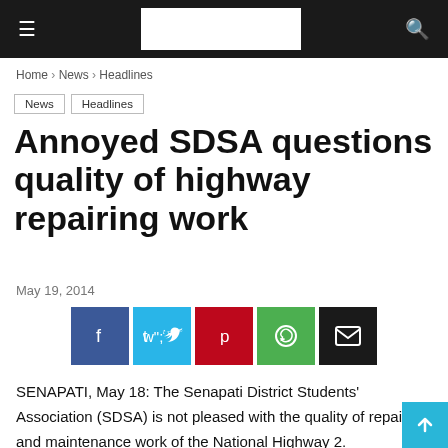≡  [logo]  🔍
Home › News › Headlines
News
Headlines
Annoyed SDSA questions quality of highway repairing work
May 19, 2014
[Figure (infographic): Social sharing buttons: Facebook, Twitter, Pinterest, WhatsApp, Email]
SENAPATI, May 18: The Senapati District Students' Association (SDSA) is not pleased with the quality of repair and maintenance work of the National Highway 2.